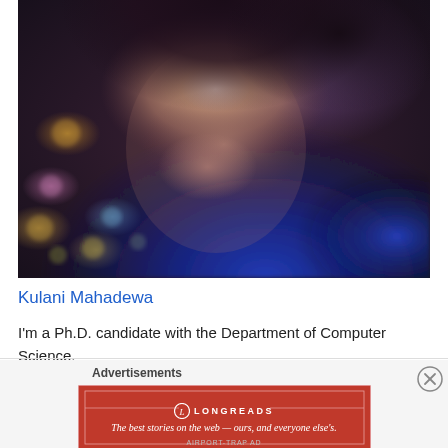[Figure (photo): Portrait photo of a young woman with dark hair pulled back, wearing a blue garment, with a bokeh background of colored lights]
Kulani Mahadewa
I'm a Ph.D. candidate with the Department of Computer Science,
Advertisements
[Figure (other): Longreads advertisement banner in red: 'The best stories on the web — ours, and everyone else's.']